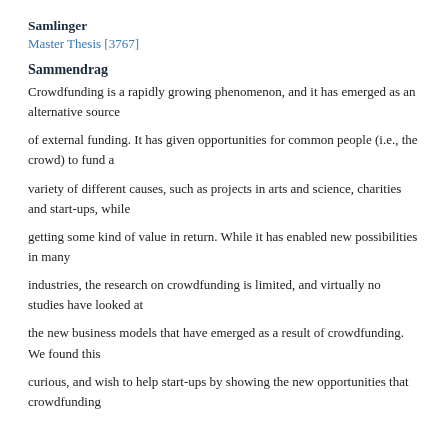Samlinger
Master Thesis [3767]
Sammendrag
Crowdfunding is a rapidly growing phenomenon, and it has emerged as an alternative source
of external funding. It has given opportunities for common people (i.e., the crowd) to fund a
variety of different causes, such as projects in arts and science, charities and start-ups, while
getting some kind of value in return. While it has enabled new possibilities in many
industries, the research on crowdfunding is limited, and virtually no studies have looked at
the new business models that have emerged as a result of crowdfunding. We found this
curious, and wish to help start-ups by showing the new opportunities that crowdfunding